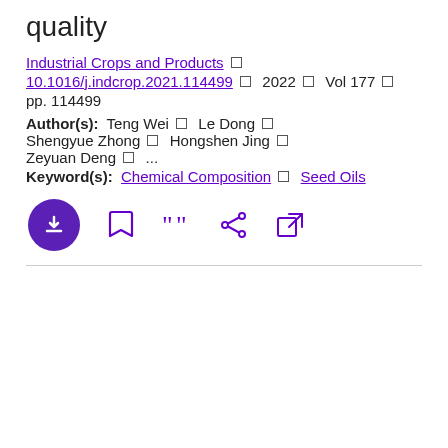quality
Industrial Crops and Products  □  10.1016/j.indcrop.2021.114499  □  2022  □  Vol 177  □  pp. 114499
Author(s):  Teng Wei □  Le Dong □  Shengyue Zhong □  Hongshen Jing □  Zeyuan Deng □  ...
Keyword(s):  Chemical Composition □  Seed Oils
[Figure (other): Action icon bar with download (filled circle), bookmark, quote, share, and external link icons]